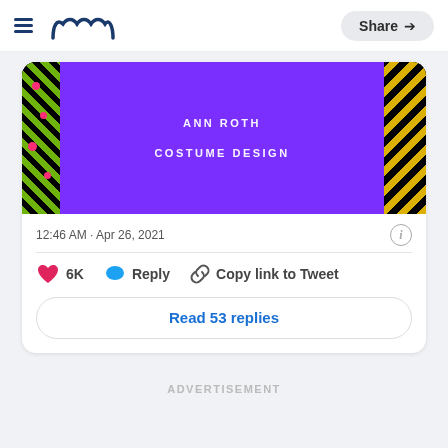Meaww  Share
[Figure (screenshot): Partial tweet card showing an award graphic with purple background, 'ANN ROTH' and 'COSTUME DESIGN' text on colorful decorative border]
12:46 AM · Apr 26, 2021
6K  Reply  Copy link to Tweet
Read 53 replies
ADVERTISEMENT